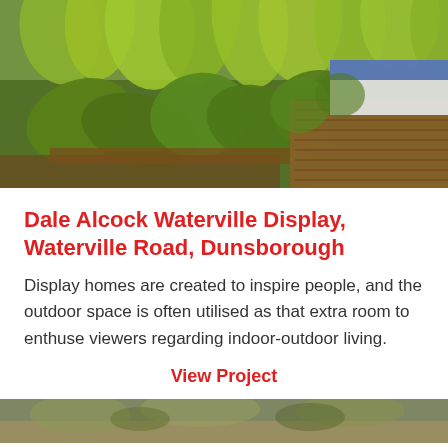[Figure (photo): Outdoor garden area with lush green ornamental grasses and plants, wooden deck/bench visible on the right side with blue and white architectural elements behind.]
Dale Alcock Waterville Display, Waterville Road, Dunsborough
Display homes are created to inspire people, and the outdoor space is often utilised as that extra room to enthuse viewers regarding indoor-outdoor living.
View Project
[Figure (photo): Partial view of another outdoor garden/landscape area at the bottom of the page.]